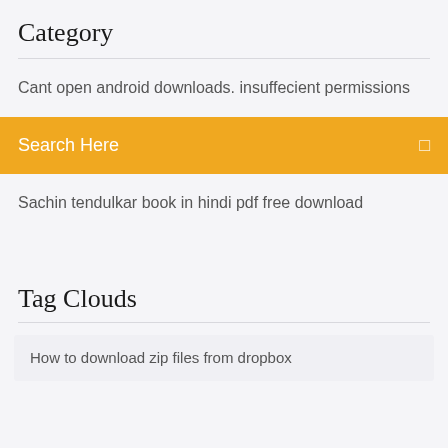Category
Cant open android downloads. insuffecient permissions
Search Here
Sachin tendulkar book in hindi pdf free download
Tag Clouds
How to download zip files from dropbox